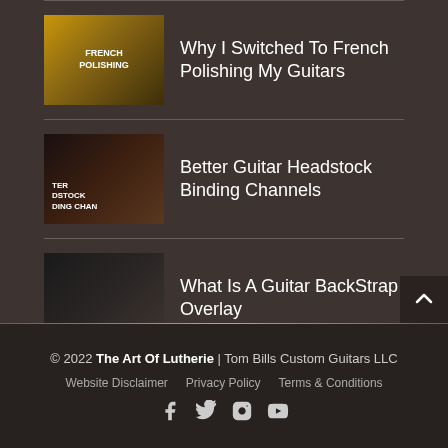Why I Switched To French Polishing My Guitars
Better Guitar Headstock Binding Channels
What Is A Guitar BackStrap Overlay
© 2022 The Art Of Lutherie | Tom Bills Custom Guitars LLC
Website Disclaimer  Privacy Policy  Terms & Conditions